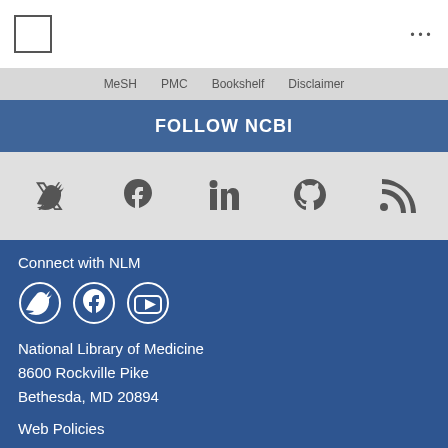NCBI | PMC | Bookshelf | Disclaimer
FOLLOW NCBI
[Figure (infographic): Social media icons row: Twitter, Facebook, LinkedIn, GitHub, RSS feed]
Connect with NLM
[Figure (infographic): NLM social media icons: Twitter circle, Facebook circle, YouTube circle]
National Library of Medicine
8600 Rockville Pike
Bethesda, MD 20894
Web Policies
FOIA